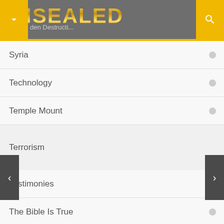UNSEALED
Syria
Technology
Temple Mount
Terrorism
Testimonies
The Bible Is True
The End Is Near
The Gospel
Theology And Apologetics
Third Temple